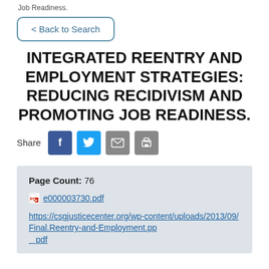Job Readiness.
< Back to Search
INTEGRATED REENTRY AND EMPLOYMENT STRATEGIES: REDUCING RECIDIVISM AND PROMOTING JOB READINESS.
Share
Page Count:  76
e000003730.pdf
https://csgjusticecenter.org/wp-content/uploads/2013/09/Final.Reentry-and-Employment.pp pdf